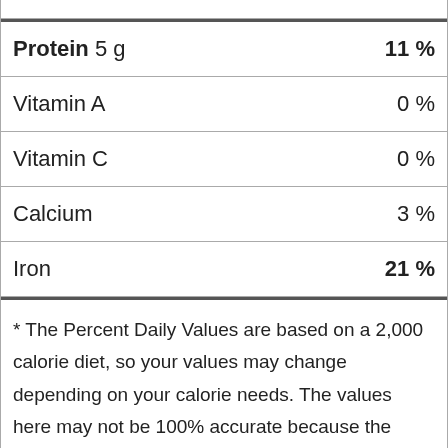| Nutrient | % Daily Value |
| --- | --- |
| Protein 5 g | 11 % |
| Vitamin A | 0 % |
| Vitamin C | 0 % |
| Calcium | 3 % |
| Iron | 21 % |
* The Percent Daily Values are based on a 2,000 calorie diet, so your values may change depending on your calorie needs. The values here may not be 100% accurate because the recipes have not been professionally evaluated nor have they been